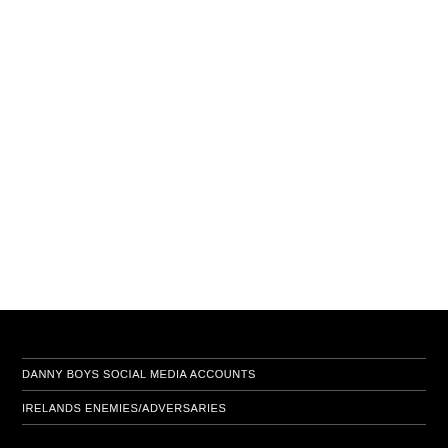DANNY BOYS SOCIAL MEDIA ACCOUNTS
IRELANDS ENEMIES/ADVERSARIES